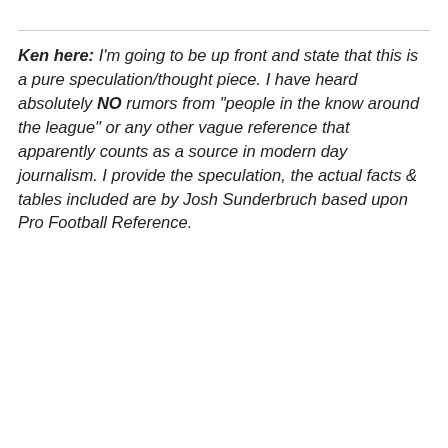Ken here: I'm going to be up front and state that this is a pure speculation/thought piece. I have heard absolutely NO rumors from "people in the know around the league" or any other vague reference that apparently counts as a source in modern day journalism. I provide the speculation, the actual facts & tables included are by Josh Sunderbruch based upon Pro Football Reference.